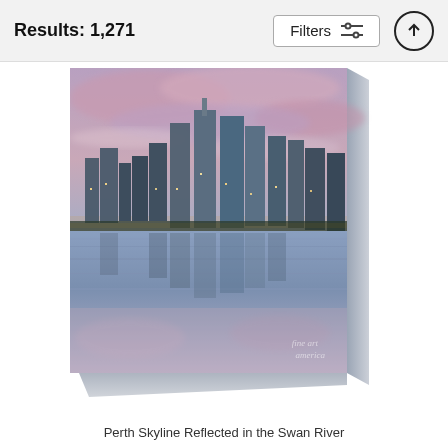Results: 1,271
[Figure (screenshot): Filter button with sliders icon in a bordered box, and an up-arrow circle button to the right, on a light grey toolbar]
[Figure (photo): Canvas print product showing Perth Skyline Reflected in the Swan River — city buildings illuminated at dusk with pink-purple clouds above and mirror reflection in water below, presented as a 3D canvas block with visible side edges. Fine Art America watermark in bottom right.]
Perth Skyline Reflected in the Swan River